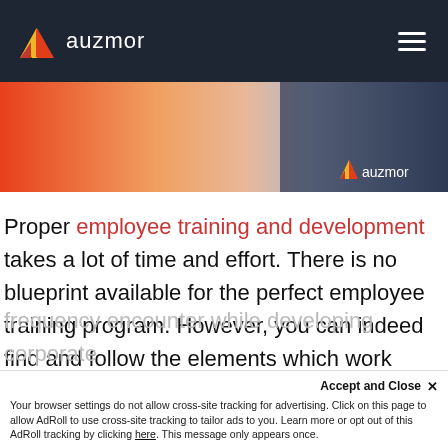auzmor
[Figure (photo): Banner image showing people shaking hands with an orange gradient overlay and the auzmor logo in the bottom right]
Proper employee training and development takes a lot of time and effort. There is no blueprint available for the perfect employee training program. However, you can indeed find and follow the elements which work best for most companies. But before getting those elements
Accept and Close ✕
Your browser settings do not allow cross-site tracking for advertising. Click on this page to allow AdRoll to use cross-site tracking to tailor ads to you. Learn more or opt out of this AdRoll tracking by clicking here. This message only appears once.
frequency encounter while developing corporate